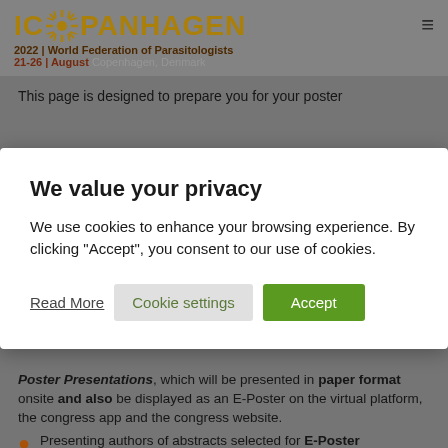ICOPENHAGEN 2022 | World Federation of Parasitologists 21-26 August Copenhagen, Denmark
This page is designed to prepare you for your poster
We value your privacy
We use cookies to enhance your browsing experience. By clicking "Accept", you consent to our use of cookies.
Read More | Cookie settings | Accept
Poster Presentations, which will be presented in paper format onsite and also be displayed as an E-Poster on the virtual platform, the congress app and the congress website.
Presenting authors of abstracts selected for E-Poster Presentations. These presentations will be displayed on the virtual platform, the congress app and the